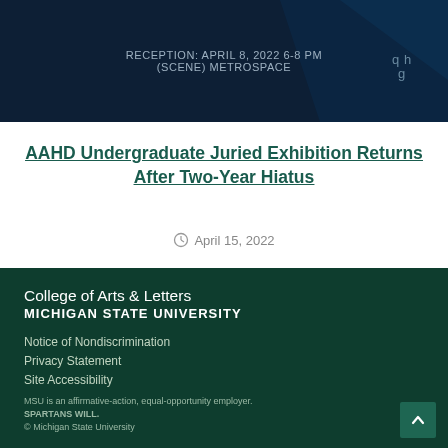[Figure (other): Dark navy blue banner with reception text and a decorative logo symbol in the top right corner]
AAHD Undergraduate Juried Exhibition Returns After Two-Year Hiatus
April 15, 2022
College of Arts & Letters MICHIGAN STATE UNIVERSITY
Notice of Nondiscrimination
Privacy Statement
Site Accessibility
MSU is an affirmative-action, equal-opportunity employer.
SPARTANS WILL.
© Michigan State University